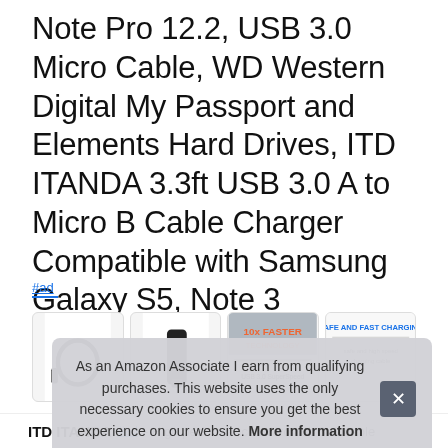Note Pro 12.2, USB 3.0 Micro Cable, WD Western Digital My Passport and Elements Hard Drives, ITD ITANDA 3.3ft USB 3.0 A to Micro B Cable Charger Compatible with Samsung Galaxy S5, Note 3
#ad
[Figure (photo): Row of four product thumbnail images showing USB cable and related accessories/specs]
As an Amazon Associate I earn from qualifying purchases. This website uses the only necessary cookies to ensure you get the best experience on our website. More information
ITD ITANDA #ad - High performance micro usb 3. 0 cable